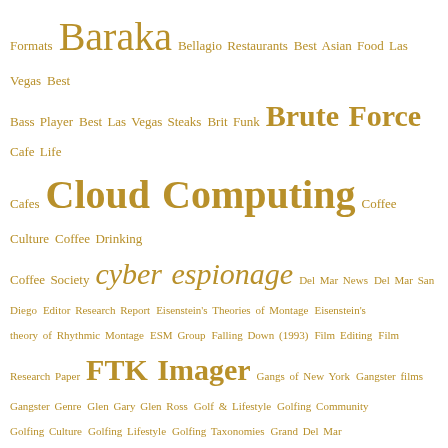[Figure (infographic): Tag cloud with various terms in different sizes, all in golden/brown color. Terms include: Formats, Baraka, Bellagio Restaurants, Best Asian Food Las Vegas, Best Bass Player, Best Las Vegas Steaks, Brit Funk, Brute Force, Cafe Life, Cafes, Cloud Computing, Coffee Culture, Coffee Drinking, Coffee Society, cyber espionage, Del Mar News, Del Mar San Diego, Editor Research Report, Eisenstein's Theories of Montage, Eisenstein's theory of Rhythmic Montage, ESM Group, Falling Down (1993), Film Editing, Film Research Paper, FTK Imager, Gangs of New York, Gangster films, Gangster Genre, Glen Gary Glen Ross, Golf & Lifestyle, Golfing Community, Golfing Culture, Golfing Lifestyle, Golfing Taxonomies, Grand Del Mar, hardware keylogger, Hollywood Opinions, Hollywood Politics, Horseshoe Bay Restaurants, Housing Bubble, Housing Market, Incident Response Manager, Intrusion detection system, Level 42, Level 42 Sound, Life on the Greens, Lossy audio files, Luxor Restaurants, Luxor Steaks, Mark King, Media]